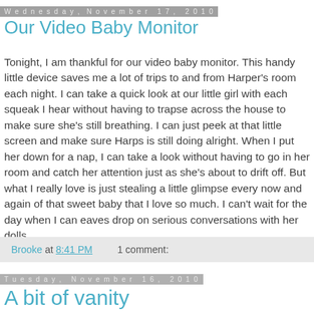Wednesday, November 17, 2010
Our Video Baby Monitor
Tonight, I am thankful for our video baby monitor. This handy little device saves me a lot of trips to and from Harper's room each night. I can take a quick look at our little girl with each squeak I hear without having to trapse across the house to make sure she's still breathing. I can just peek at that little screen and make sure Harps is still doing alright. When I put her down for a nap, I can take a look without having to go in her room and catch her attention just as she's about to drift off. But what I really love is just stealing a little glimpse every now and again of that sweet baby that I love so much. I can't wait for the day when I can eaves drop on serious conversations with her dolls.
Brooke at 8:41 PM    1 comment:
Tuesday, November 16, 2010
A bit of vanity